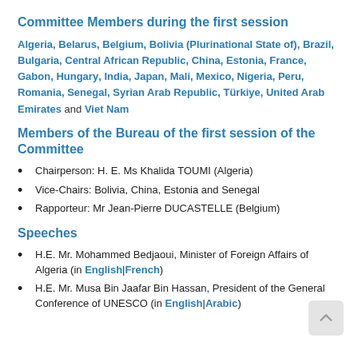Committee Members during the first session
Algeria, Belarus, Belgium, Bolivia (Plurinational State of), Brazil, Bulgaria, Central African Republic, China, Estonia, France, Gabon, Hungary, India, Japan, Mali, Mexico, Nigeria, Peru, Romania, Senegal, Syrian Arab Republic, Türkiye, United Arab Emirates and Viet Nam
Members of the Bureau of the first session of the Committee
Chairperson: H. E. Ms Khalida TOUMI (Algeria)
Vice-Chairs: Bolivia, China, Estonia and Senegal
Rapporteur: Mr Jean-Pierre DUCASTELLE (Belgium)
Speeches
H.E. Mr. Mohammed Bedjaoui, Minister of Foreign Affairs of Algeria (in English|French)
H.E. Mr. Musa Bin Jaafar Bin Hassan, President of the General Conference of UNESCO (in English|Arabic)